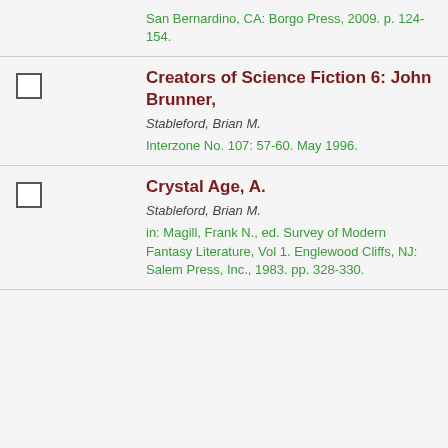San Bernardino, CA: Borgo Press, 2009. p. 124-154.
Creators of Science Fiction 6: John Brunner, | Stableford, Brian M. | Interzone No. 107: 57-60. May 1996.
Crystal Age, A. | Stableford, Brian M. | in: Magill, Frank N., ed. Survey of Modern Fantasy Literature, Vol 1. Englewood Cliffs, NJ: Salem Press, Inc., 1983. pp. 328-330.